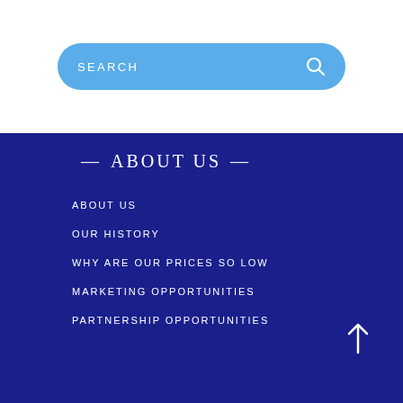[Figure (screenshot): Search bar with light blue rounded pill shape, white text SEARCH and a magnifying glass icon on the right]
— ABOUT US —
ABOUT US
OUR HISTORY
WHY ARE OUR PRICES SO LOW
MARKETING OPPORTUNITIES
PARTNERSHIP OPPORTUNITIES